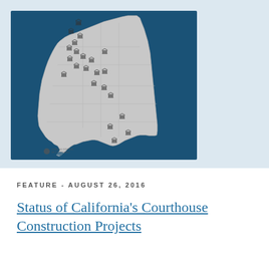[Figure (map): Map of California showing courthouse construction project locations marked with courthouse/building icons, displayed on a dark blue background with gray county outlines. The Judicial Council of California logo appears in the lower left corner.]
FEATURE - AUGUST 26, 2016
Status of California's Courthouse Construction Projects